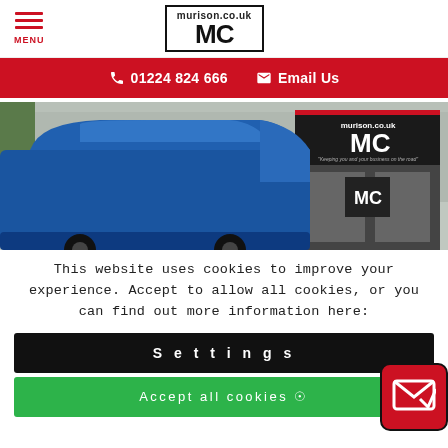MENU | murison.co.uk MC logo
01224 824 666   Email Us
[Figure (photo): Exterior photo of Murison vehicle centre with a blue van parked in front of the building. The building has a dark sign reading murison.co.uk and MC with the tagline 'Keeping you and your business on the road'.]
This website uses cookies to improve your experience. Accept to allow all cookies, or you can find out more information here:
Settings
Accept all cookies ✓